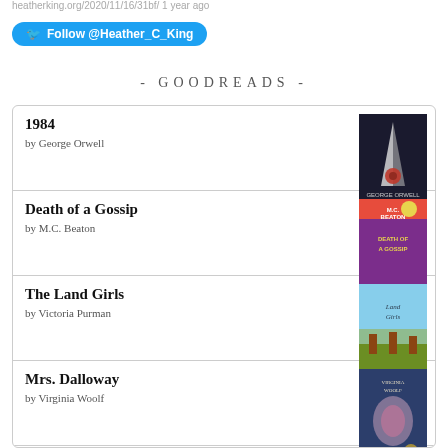heatherking.org/2020/11/16/31bf/ 1 year ago
Follow @Heather_C_King
- GOODREADS -
1984 by George Orwell
Death of a Gossip by M.C. Beaton
The Land Girls by Victoria Purman
Mrs. Dalloway by Virginia Woolf